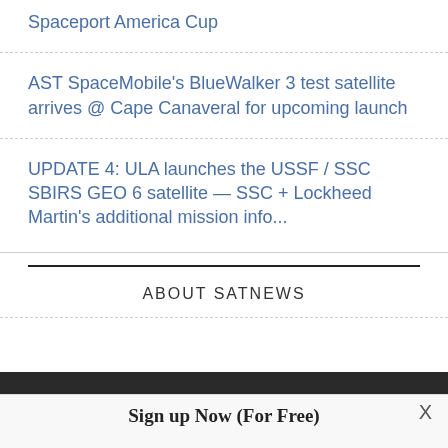Spaceport America Cup
AST SpaceMobile's BlueWalker 3 test satellite arrives @ Cape Canaveral for upcoming launch
UPDATE 4: ULA launches the USSF / SSC SBIRS GEO 6 satellite — SSC + Lockheed Martin's additional mission info...
ABOUT SATNEWS
Sign up Now (For Free)
Access daily or weekly satellite news updates covering all aspects of the commercial and military satellite